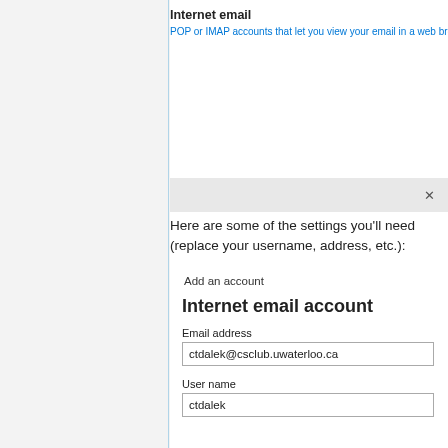Internet email
POP or IMAP accounts that let you view your email in a web browser.
Here are some of the settings you'll need (replace your username, address, etc.):
Add an account
Internet email account
Email address
ctdalek@csclub.uwaterloo.ca
User name
ctdalek